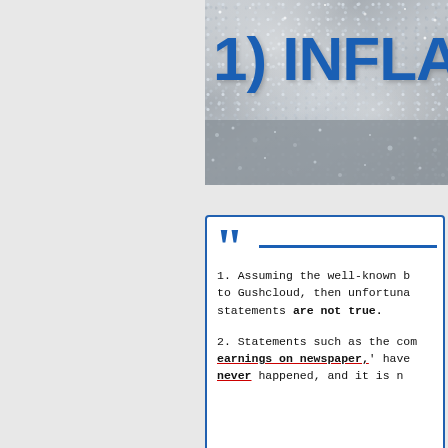[Figure (photo): Glitter/sparkle background image with large bold blue text reading '1) INFLATING' overlaid on it]
1. Assuming the well-known b... to Gushcloud, then unfortunately statements are not true.

2. Statements such as the com... earnings on newspaper,' have... never happened, and it is n...